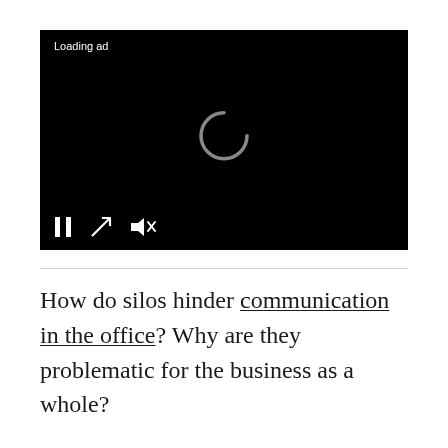[Figure (screenshot): A black video player with 'Loading ad' text in the top-left, a circular loading spinner in the center, and playback controls (pause, fullscreen, mute) at the bottom-left.]
How do silos hinder communication in the office? Why are they problematic for the business as a whole?